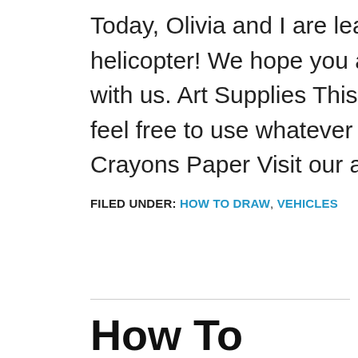Today, Olivia and I are learning how to draw a really cool helicopter! We hope you and your little artists love drawing this with us. Art Supplies This is a list of the supplies we used, but feel free to use whatever you have in your home or classroom. Crayons Paper Visit our art supply [...]
FILED UNDER: HOW TO DRAW, VEHICLES
How To Draw Mom And Baby Goldfish